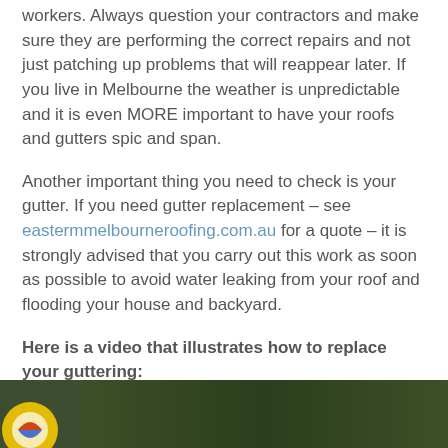workers. Always question your contractors and make sure they are performing the correct repairs and not just patching up problems that will reappear later. If you live in Melbourne the weather is unpredictable and it is even MORE important to have your roofs and gutters spic and span.
Another important thing you need to check is your gutter. If you need gutter replacement – see eastermmelbourneroofing.com.au for a quote – it is strongly advised that you carry out this work as soon as possible to avoid water leaking from your roof and flooding your house and backyard.
Here is a video that illustrates how to replace your guttering:
[Figure (screenshot): Video thumbnail showing outdoor scene with trees/foliage and a partial logo/icon visible at bottom left]